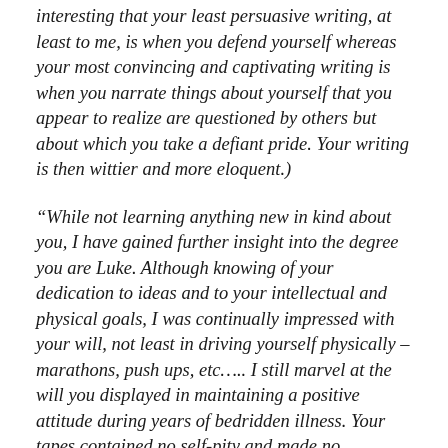interesting that your least persuasive writing, at least to me, is when you defend yourself whereas your most convincing and captivating writing is when you narrate things about yourself that you appear to realize are questioned by others but about which you take a defiant pride. Your writing is then wittier and more eloquent.)
“While not learning anything new in kind about you, I have gained further insight into the degree you are Luke. Although knowing of your dedication to ideas and to your intellectual and physical goals, I was continually impressed with your will, not least in driving yourself physically – marathons, push ups, etc….. I still marvel at the will you displayed in maintaining a positive attitude during years of bedridden illness. Your tapes contained no self-pity and made no complaint. Despite nausea, headaches, etc., and